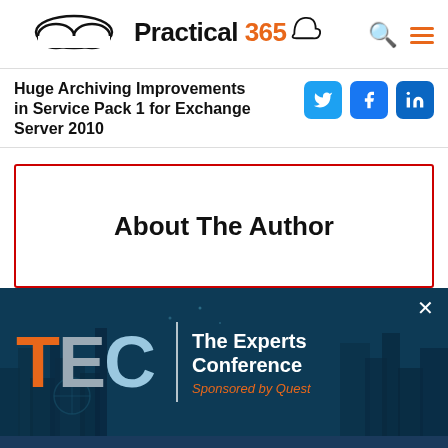Practical 365
Huge Archiving Improvements in Service Pack 1 for Exchange Server 2010
About The Author
[Figure (infographic): TEC - The Experts Conference banner advertisement. Sponsored by Quest. Features large orange T, grey E, light blue C letters with a city skyline background in dark teal.]
In-person Microsoft training is back!